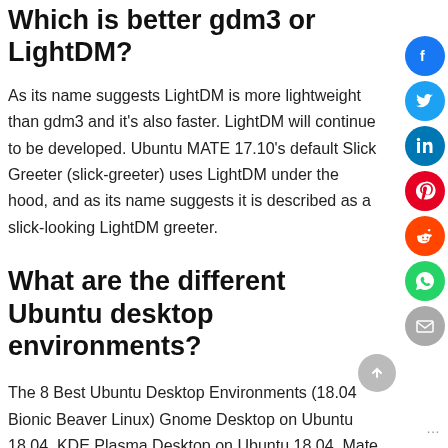Which is better gdm3 or LightDM?
As its name suggests LightDM is more lightweight than gdm3 and it's also faster. LightDM will continue to be developed. Ubuntu MATE 17.10's default Slick Greeter (slick-greeter) uses LightDM under the hood, and as its name suggests it is described as a slick-looking LightDM greeter.
What are the different Ubuntu desktop environments?
The 8 Best Ubuntu Desktop Environments (18.04 Bionic Beaver Linux) Gnome Desktop on Ubuntu 18.04. KDE Plasma Desktop on Ubuntu 18.04. Mate Desktop on Ubuntu 18.04. Budgie Desktop Environment on Ubuntu 18.04 Bionic Beaver. Xfce Desktop on Ubuntu 18.04.